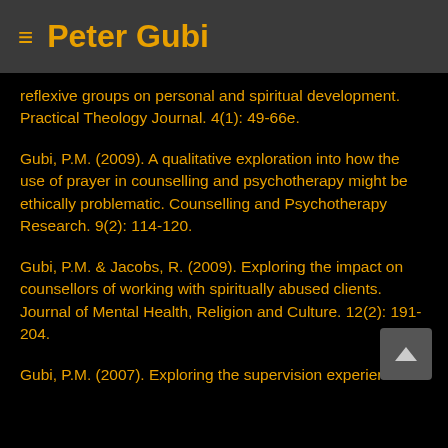≡  Peter Gubi
reflexive groups on personal and spiritual development. Practical Theology Journal. 4(1): 49-66e.
Gubi, P.M. (2009). A qualitative exploration into how the use of prayer in counselling and psychotherapy might be ethically problematic. Counselling and Psychotherapy Research. 9(2): 114-120.
Gubi, P.M. & Jacobs, R. (2009). Exploring the impact on counsellors of working with spiritually abused clients. Journal of Mental Health, Religion and Culture. 12(2): 191-204.
Gubi, P.M. (2007). Exploring the supervision experience of